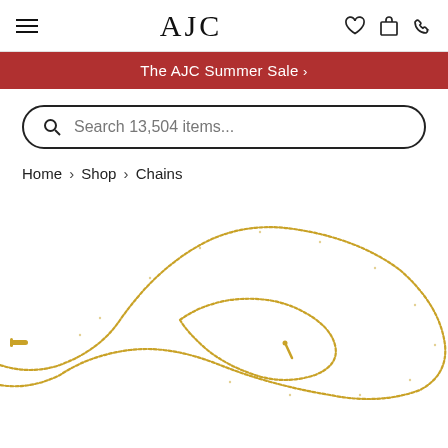AJC
The AJC Summer Sale >
Search 13,504 items...
Home > Shop > Chains
[Figure (photo): A gold chain necklace laid out in a loop on a white background, with a small pendant and a bar-style clasp visible.]